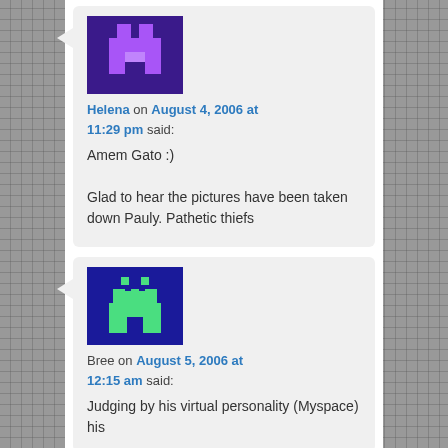[Figure (illustration): Pixel art avatar for Helena — purple/violet character on dark purple background]
Helena on August 4, 2006 at 11:29 pm said:
Amem Gato :)

Glad to hear the pictures have been taken down Pauly. Pathetic thiefs
[Figure (illustration): Pixel art avatar for Bree — green character on dark blue background]
Bree on August 5, 2006 at 12:15 am said:
Judging by his virtual personality (Myspace) his